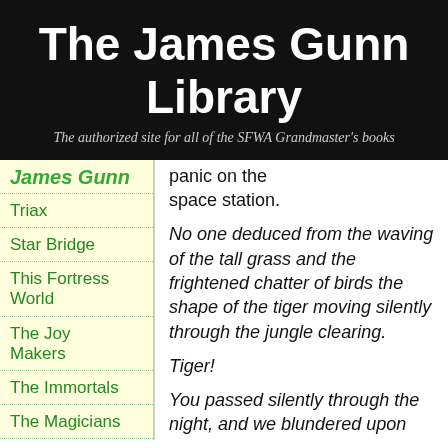The James Gunn Library
The authorized site for all of the SFWA Grandmaster's books
James Gunn
Triax
Star Bridge
This Fortress World
The Joy Makers
The Immortals
The Magicians
Kampus
panic on the space station.
No one deduced from the waving of the tall grass and the frightened chatter of birds the shape of the tiger moving silently through the jungle clearing.
Tiger!
You passed silently through the night, and we blundered upon you. You were fear, awe, hatred, and opportunity. You were